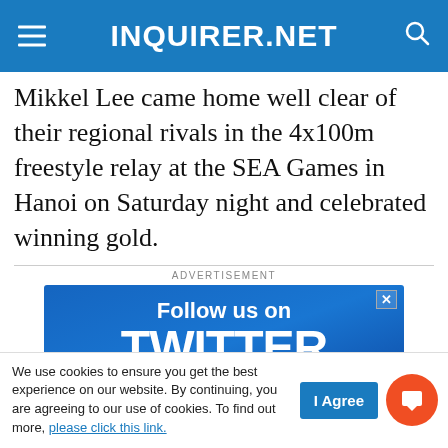INQUIRER.NET
Mikkel Lee came home well clear of their regional rivals in the 4x100m freestyle relay at the SEA Games in Hanoi on Saturday night and celebrated winning gold.
[Figure (infographic): Advertisement banner: 'Follow us on TWITTER for Philippine news and info' with blue background and device images]
We use cookies to ensure you get the best experience on our website. By continuing, you are agreeing to our use of cookies. To find out more, please click this link.